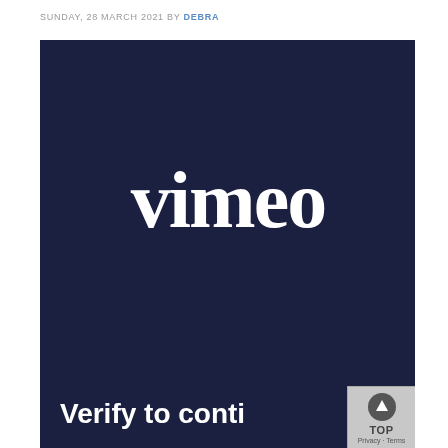SUNDAY, 28 MARCH 2021 BY DEBRA
[Figure (screenshot): Vimeo verification page screenshot showing dark navy background with white Vimeo logo and 'Verify to conti...' text at bottom, with a reCAPTCHA-style TOP button overlay in bottom right corner]